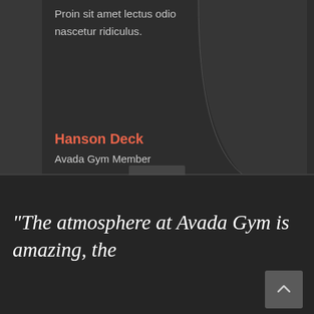Proin sit amet lectus odio nascetur ridiculus.
Hanson Deck
Avada Gym Member
“The atmosphere at Avada Gym is amazing, the